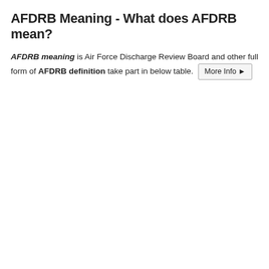AFDRB Meaning - What does AFDRB mean?
AFDRB meaning is Air Force Discharge Review Board and other full form of AFDRB definition take part in below table.